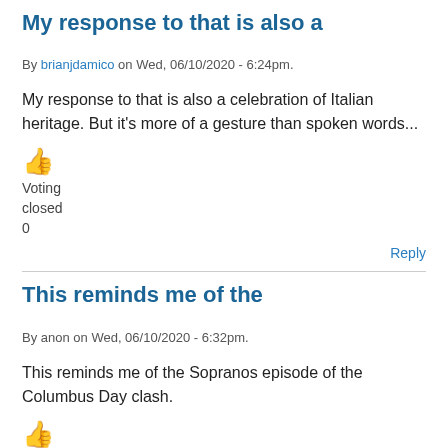My response to that is also a
By brianjdamico on Wed, 06/10/2020 - 6:24pm.
My response to that is also a celebration of Italian heritage. But it's more of a gesture than spoken words...
[Figure (illustration): Thumbs up emoji icon in orange/yellow color]
Voting
closed
0
Reply
This reminds me of the
By anon on Wed, 06/10/2020 - 6:32pm.
This reminds me of the Sopranos episode of the Columbus Day clash.
[Figure (illustration): Thumbs up emoji icon in orange/yellow color]
Voting